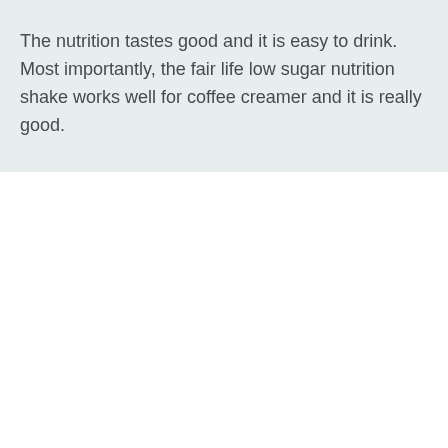The nutrition tastes good and it is easy to drink. Most importantly, the fair life low sugar nutrition shake works well for coffee creamer and it is really good.